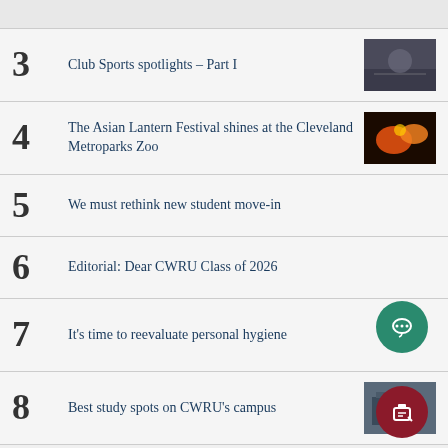3  Club Sports spotlights – Part I
4  The Asian Lantern Festival shines at the Cleveland Metroparks Zoo
5  We must rethink new student move-in
6  Editorial: Dear CWRU Class of 2026
7  It's time to reevaluate personal hygiene
8  Best study spots on CWRU's campus